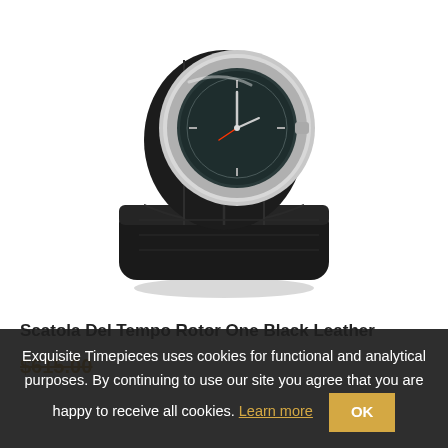[Figure (photo): Scatola Del Tempo Rotor One Black Leather watch winder — a black leather cylindrical case with chrome/silver circular bezel holding an automatic watch, sitting on a rectangular black leather base. The watch face is visible through the chrome ring.]
Scatola Del Tempo Rotor One Black Leather
$615.00
Exquisite Timepieces uses cookies for functional and analytical purposes. By continuing to use our site you agree that you are happy to receive all cookies. Learn more  OK